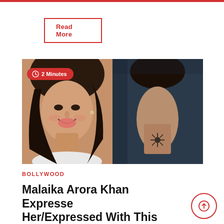[Figure (other): A button labeled 'Read More' with red border on white background]
[Figure (photo): Left half: Malaika Arora Khan smiling, facing camera with long dark hair. Right half: Back of a woman's neck with a tattoo. Red badge overlay reading '2 Minutes' with clock icon.]
BOLLYWOOD
Malaika Arora Khan Expresse Her/Expressed With This Tatto...